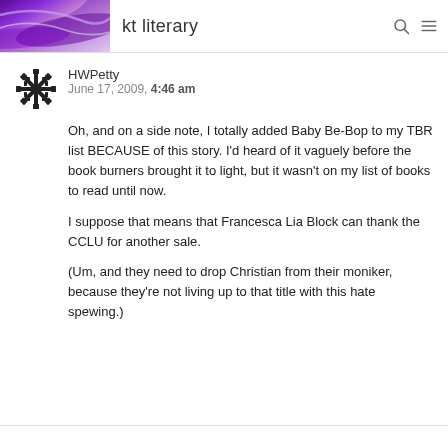kt literary
HWPetty
June 17, 2009, 4:46 am
Oh, and on a side note, I totally added Baby Be-Bop to my TBR list BECAUSE of this story. I'd heard of it vaguely before the book burners brought it to light, but it wasn't on my list of books to read until now.

I suppose that means that Francesca Lia Block can thank the CCLU for another sale.

(Um, and they need to drop Christian from their moniker, because they're not living up to that title with this hate spewing.)